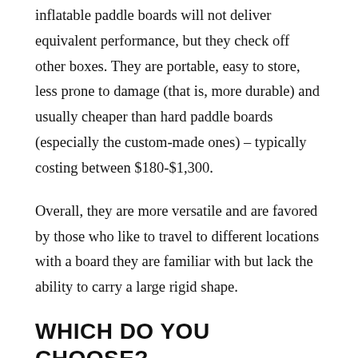inflatable paddle boards will not deliver equivalent performance, but they check off other boxes. They are portable, easy to store, less prone to damage (that is, more durable) and usually cheaper than hard paddle boards (especially the custom-made ones) – typically costing between $180-$1,300.
Overall, they are more versatile and are favored by those who like to travel to different locations with a board they are familiar with but lack the ability to carry a large rigid shape.
WHICH DO YOU CHOOSE?
The bottom line is that you can take an inflatable paddle board anywhere with you, including on transcontinental journeys, and they can be used in a variety of conditions